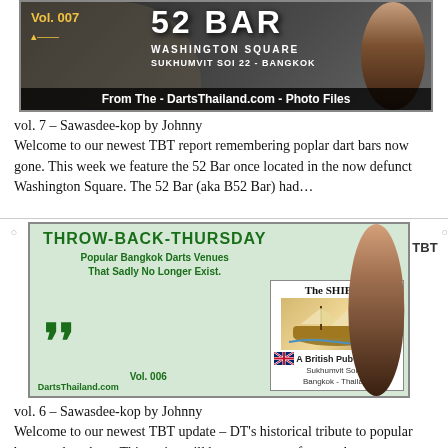[Figure (photo): Banner image for 52 Bar, Washington Square, Sukhumvit Soi 22 Bangkok. Vol. 007 Throw-Back-Thursday. Text: From The - DartsThailand.com - Photo Files]
vol. 7 – Sawasdee-kop by Johnny
Welcome to our newest TBT report remembering poplar dart bars now gone. This week we feature the 52 Bar once located in the now defunct Washington Square. The 52 Bar (aka B52 Bar) had…
[Figure (photo): Throw-Back-Thursday banner. Popular Bangkok Darts Venues That Sadly No Longer Exist. The SHIP Inn, A British Pub, Sukhumvit Soi 23, Bangkok - Thailand. Vol. 006. DartsThailand.com]
TBT
vol. 6 – Sawasdee-kop by Johnny
Welcome to our newest TBT update – DT's historical tribute to popular bygone darts bars. This series will be a permanent feature that you can easily find &